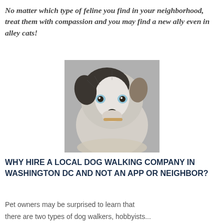No matter which type of feline you find in your neighborhood, treat them with compassion and you may find a new ally even in alley cats!
[Figure (photo): Close-up photo of a fluffy black and white puppy with blue eyes, holding something in its mouth, looking at the camera.]
WHY HIRE A LOCAL DOG WALKING COMPANY IN WASHINGTON DC AND NOT AN APP OR NEIGHBOR?
Pet owners may be surprised to learn that there are two types of dog walkers, hobbyists...